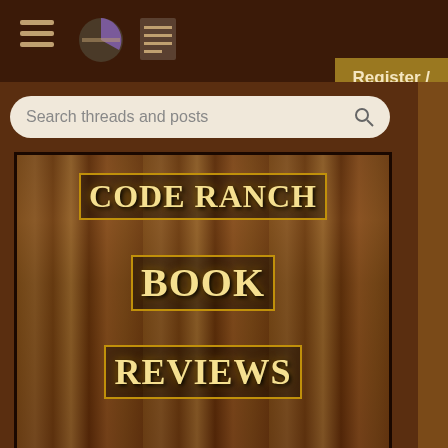Code Ranch forum header with hamburger menu and Register button
Search threads and posts
[Figure (illustration): Code Ranch Book Reviews logo with books in background and western-style lettering]
[Figure (illustration): Meaningless Drivel - dinosaur with top hat logo]
[Figure (illustration): Amazing - partial blue bar at bottom left]
Reading properties file — 0 replies
Starting Java programs f… — 2 replies
No One ????? — 1 reply
configuration in suncert… — 23 replies
Readind and Writing Con…